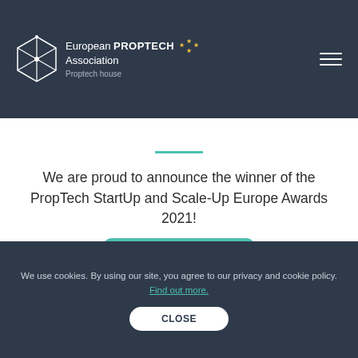[Figure (logo): European PropTech Association logo with geometric house icon and EU stars]
We are proud to announce the winner of the PropTech StartUp and Scale-Up Europe Awards 2021!
We use cookies. By using our site, you agree to our privacy and cookie policy. Find out more.
CLOSE